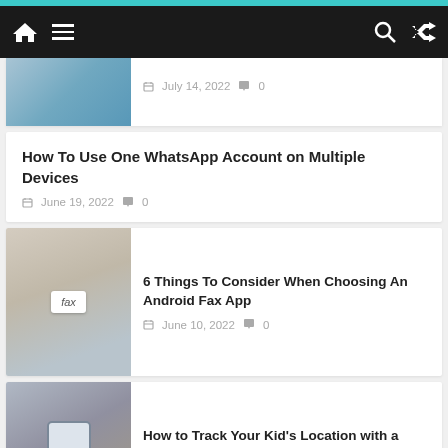Navigation bar with home, menu, search, and shuffle icons
[Figure (screenshot): Partial article card image at top, cropped — person holding phone]
July 14, 2022  0
How To Use One WhatsApp Account on Multiple Devices
June 19, 2022  0
[Figure (photo): Hands holding a tablet with 'fax' typed on screen]
6 Things To Consider When Choosing An Android Fax App
June 10, 2022  0
[Figure (photo): Person holding a smartphone showing a map]
How to Track Your Kid's Location with a Family Tracker App?
June 6, 2022  0
Categories